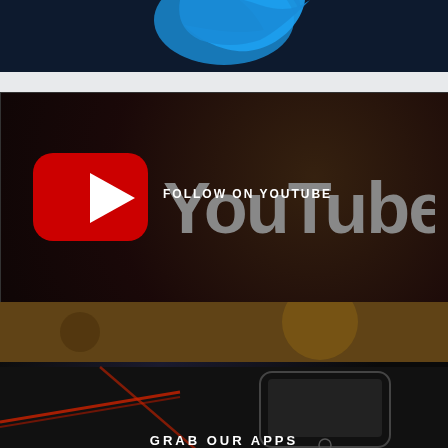[Figure (screenshot): Top section with dark blue background showing partial Twitter bird logo]
[Figure (screenshot): YouTube follow banner with YouTube logo (red play button icon and gray YouTube wordmark) and text FOLLOW ON YOUTUBE on a dark background]
FOLLOW ON YOUTUBE
[Figure (photo): Blurred warm brownish bokeh background section]
[Figure (photo): Dark section showing smartphone/iPhone with cable, apps promo section]
GRAB OUR APPS